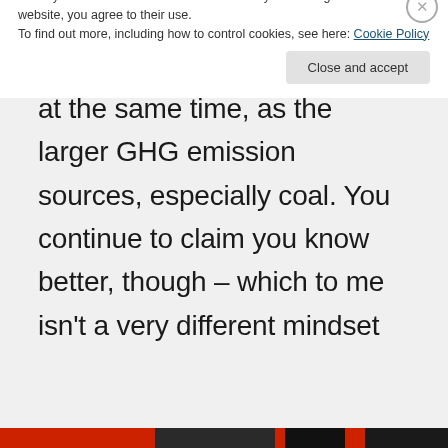our total GHG emissions, and it should be addressed, at the same time, as the larger GHG emission sources, especially coal. You continue to claim you know better, though – which to me isn't a very different mindset
Privacy & Cookies: This site uses cookies. By continuing to use this website, you agree to their use.
To find out more, including how to control cookies, see here: Cookie Policy
Close and accept